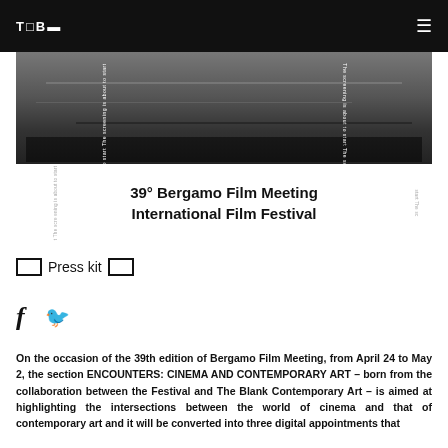T□B□  ≡
[Figure (photo): Landscape/aerial black and white photograph with rotated text on sides reading 'The screening is about to start' and festival title overlay: 39° Bergamo Film Meeting International Film Festival]
□ Press kit □
[Figure (other): Social media icons: Facebook (f) and Twitter (bird)]
On the occasion of the 39th edition of Bergamo Film Meeting, from April 24 to May 2, the section ENCOUNTERS: CINEMA AND CONTEMPORARY ART – born from the collaboration between the Festival and The Blank Contemporary Art – is aimed at highlighting the intersections between the world of cinema and that of contemporary art and it will be converted into three digital appointments that